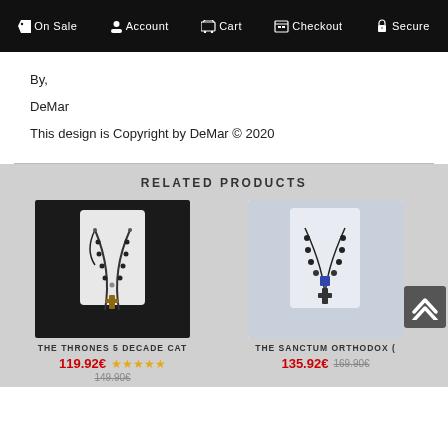On Sale  Account  Cart  Checkout  Secure
By,
DeMar
This design is Copyright by DeMar © 2020
RELATED PRODUCTS
[Figure (photo): Product photo of THE THRONES 5 DECADE CAT rosary necklace on a white bust display against dark background]
THE THRONES 5 DECADE CAT
119.92€ ★★★★★
149.90€
[Figure (photo): Product photo of THE SANCTUM ORTHODOX rosary necklace with cross pendant on white bust display]
THE SANCTUM ORTHODOX (
135.92€  169.90€